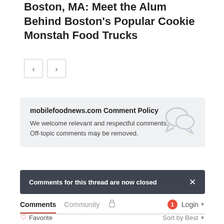Boston, MA: Meet the Alum Behind Boston's Popular Cookie Monstah Food Trucks
[Figure (other): Navigation previous/next arrow buttons]
mobilefoodnews.com Comment Policy
We welcome relevant and respectful comments. Off-topic comments may be removed.
Comments for this thread are now closed
Comments  Community  🔒  1  Login ▾
♡ Favorite    Sort by Best ▾